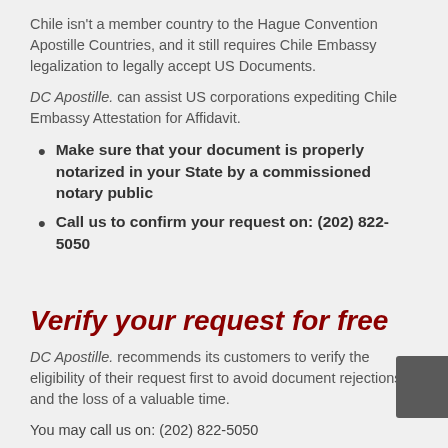Chile isn't a member country to the Hague Convention Apostille Countries, and it still requires Chile Embassy legalization to legally accept US Documents.
DC Apostille. can assist US corporations expediting Chile Embassy Attestation for Affidavit.
Make sure that your document is properly notarized in your State by a commissioned notary public
Call us to confirm your request on: (202) 822-5050
Verify your request for free
DC Apostille. recommends its customers to verify the eligibility of their request first to avoid document rejections and the loss of a valuable time.
You may call us on: (202) 822-5050
Or, you can upload a copy of your document here and